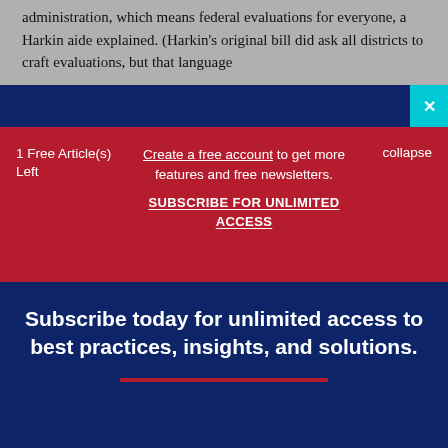administration, which means federal evaluations for everyone, a Harkin aide explained. (Harkin's original bill did ask all districts to craft evaluations, but that language
1 Free Article(s) Left
Create a free account to get more features and free newsletters.
SUBSCRIBE FOR UNLIMITED ACCESS
collapse
Subscribe today for unlimited access to best practices, insights, and solutions.
SUBSCRIBE